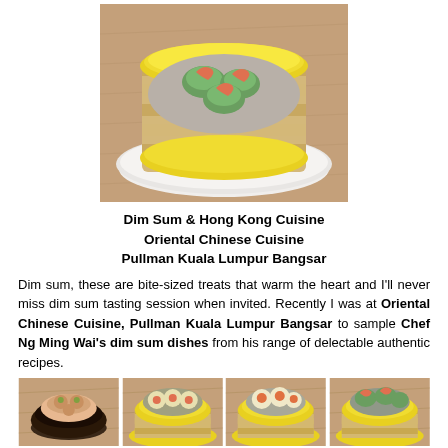[Figure (photo): A yellow bamboo steamer basket on a white plate containing green and shrimp dim sum dumplings, photographed from above on a textured brown surface.]
Dim Sum & Hong Kong Cuisine
Oriental Chinese Cuisine
Pullman Kuala Lumpur Bangsar
Dim sum, these are bite-sized treats that warm the heart and I'll never miss dim sum tasting session when invited. Recently I was at Oriental Chinese Cuisine, Pullman Kuala Lumpur Bangsar to sample Chef Ng Ming Wai's dim sum dishes from his range of delectable authentic recipes.
[Figure (photo): Four side-by-side photos of various dim sum dishes served in yellow bamboo steamers and a dark bowl, on textured brown backgrounds.]